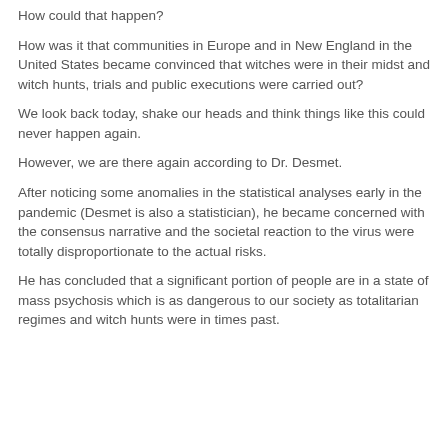How could that happen?
How was it that communities in Europe and in New England in the United States became convinced that witches were in their midst and witch hunts, trials and public executions were carried out?
We look back today, shake our heads and think things like this could never happen again.
However, we are there again according to Dr. Desmet.
After noticing some anomalies in the statistical analyses early in the pandemic (Desmet is also a statistician), he became concerned with the consensus narrative and the societal reaction to the virus were totally disproportionate to the actual risks.
He has concluded that a significant portion of people are in a state of mass psychosis which is as dangerous to our society as totalitarian regimes and witch hunts were in times past.